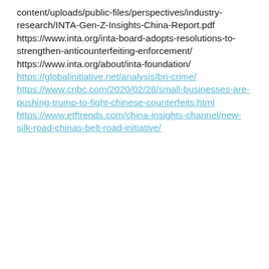content/uploads/public-files/perspectives/industry-research/INTA-Gen-Z-Insights-China-Report.pdf https://www.inta.org/inta-board-adopts-resolutions-to-strengthen-anticounterfeiting-enforcement/ https://www.inta.org/about/inta-foundation/ https://globalinitiative.net/analysis/bri-crime/ https://www.cnbc.com/2020/02/28/small-businesses-are-pushing-trump-to-fight-chinese-counterfeits.html https://www.etftrends.com/china-insights-channel/new-silk-road-chinas-belt-road-initiative/